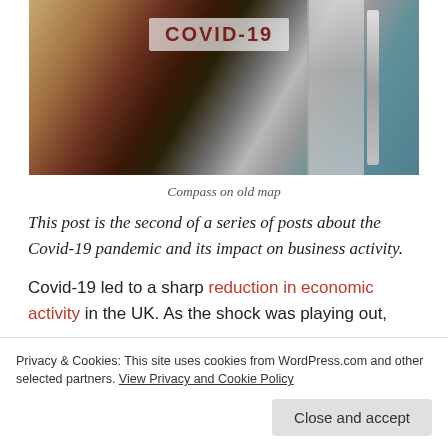[Figure (photo): Photo of a door or window with a COVID-19 sign text visible, with reflections and metallic door fixtures, teal/blue background visible]
Compass on old map
This post is the second of a series of posts about the Covid-19 pandemic and its impact on business activity.
Covid-19 led to a sharp reduction in economic activity in the UK. As the shock was playing out,
Privacy & Cookies: This site uses cookies from WordPress.com and other selected partners. View Privacy and Cookie Policy
Close and accept